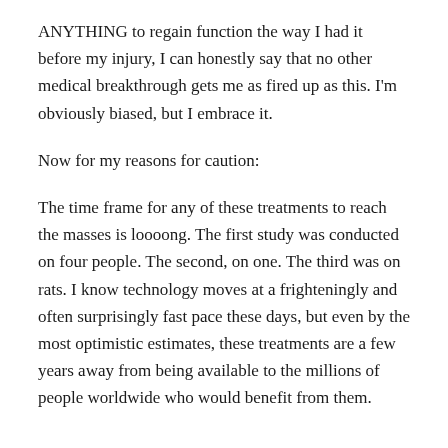ANYTHING to regain function the way I had it before my injury, I can honestly say that no other medical breakthrough gets me as fired up as this. I'm obviously biased, but I embrace it.
Now for my reasons for caution:
The time frame for any of these treatments to reach the masses is loooong. The first study was conducted on four people. The second, on one. The third was on rats. I know technology moves at a frighteningly and often surprisingly fast pace these days, but even by the most optimistic estimates, these treatments are a few years away from being available to the millions of people worldwide who would benefit from them.